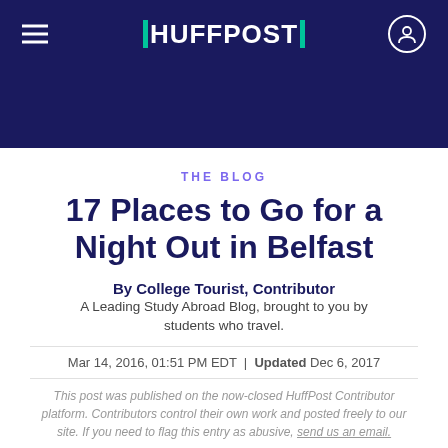HUFFPOST
THE BLOG
17 Places to Go for a Night Out in Belfast
By College Tourist, Contributor
A Leading Study Abroad Blog, brought to you by students who travel.
Mar 14, 2016, 01:51 PM EDT | Updated Dec 6, 2017
This post was published on the now-closed HuffPost Contributor platform. Contributors control their own work and posted freely to our site. If you need to flag this entry as abusive, send us an email.